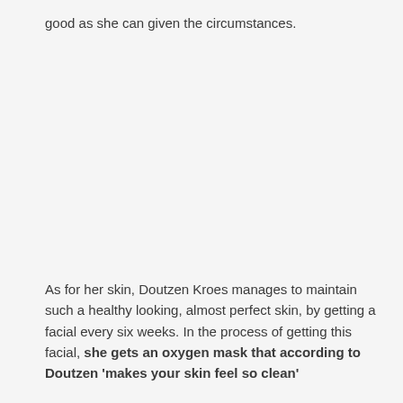good as she can given the circumstances.
As for her skin, Doutzen Kroes manages to maintain such a healthy looking, almost perfect skin, by getting a facial every six weeks. In the process of getting this facial, she gets an oxygen mask that according to Doutzen 'makes your skin feel so clean'